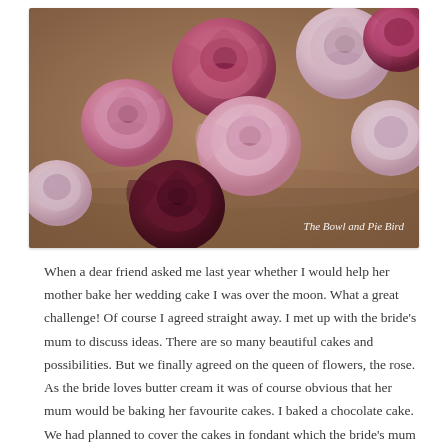[Figure (photo): Close-up photograph of decorative fondant or sugar roses on a wedding cake. The roses are in shades of deep magenta/burgundy, pink, and pale cream/blush. They are arranged across the rounded surface of a brown/tan cake tier. A white watermark text reads 'The Bowl and Pie Bird' in the lower right corner.]
When a dear friend asked me last year whether I would help her mother bake her wedding cake I was over the moon. What a great challenge! Of course I agreed straight away. I met up with the bride's mum to discuss ideas. There are so many beautiful cakes and possibilities. But we finally agreed on the queen of flowers, the rose. As the bride loves butter cream it was of course obvious that her mum would be baking her favourite cakes. I baked a chocolate cake. We had planned to cover the cakes in fondant which the bride's mum was going to